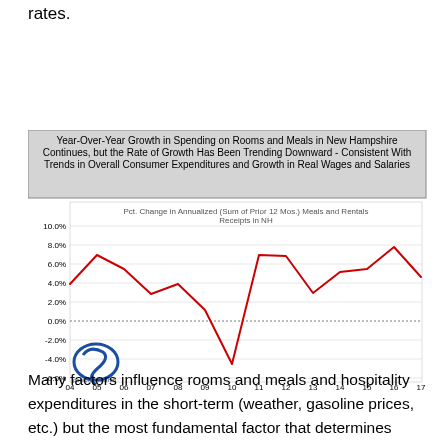rates.
[Figure (line-chart): Year-Over-Year Growth in Spending on Rooms and Meals in New Hampshire Continues, but the Rate of Growth Has Been Trending Downward - Consistent With Trends in Overall Consumer Expenditures and Growth in Real Wages and Salaries]
Many factors influence rooms and meals and hospitality expenditures in the short-term (weather, gasoline prices, etc.) but the most fundamental factor that determines